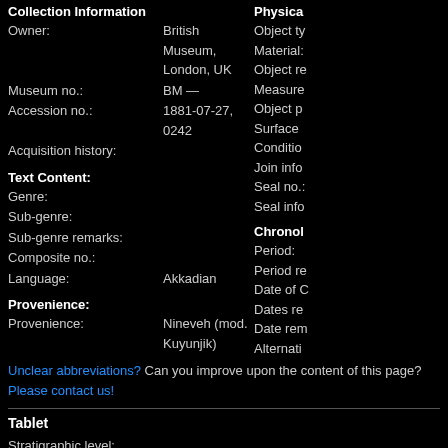Collection Information
Owner: British Museum, London, UK
Museum no.: BM —
Accession no.: 1881-07-27, 0242
Acquisition history:
Text Content:
Genre:
Sub-genre:
Sub-genre remarks:
Composite no.:
Language: Akkadian
Provenience:
Provenience: Nineveh (mod. Kuyunjik)
Provenience remarks:
Excavation no.:
Findspot square:
Elevation:
Stratigraphic level:
Findspot remarks:
Physical
Object ty
Material:
Object re
Measure
Object p
Surface
Condition
Join info
Seal no.:
Seal info
Chronol
Period:
Period re
Date of C
Dates re
Date rem
Alternati
Accounti
Unclear abbreviations? Can you improve upon the content of this page? Please contact us!
Tablet